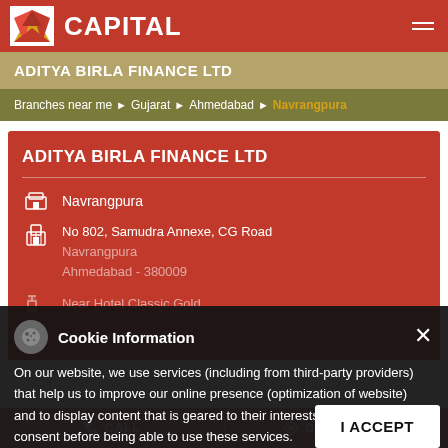CAPITAL
ADITYA BIRLA FINANCE LTD
Branches near me > Gujarat > Ahmedabad > Navrangpura
ADITYA BIRLA FINANCE LTD
Navrangpura
No 802, Samudra Annexe, CG Road
Navrangpura
Ahmedabad - 380009
Near Hotel Classic Gold
Opens at 09:30 AM
Cookie Information
On our website, we use services (including from third-party providers) that help us to improve our online presence (optimization of website) and to display content that is geared to their interests. We need your consent before being able to use these services.
I ACCEPT
CALL    DIRECTIONS